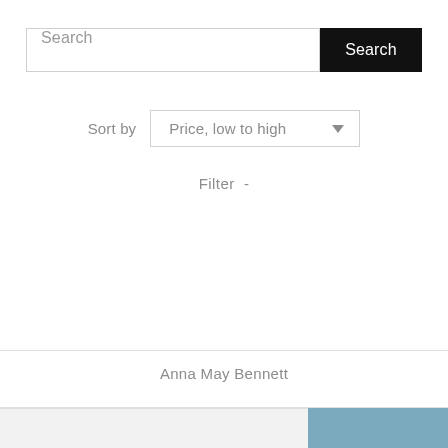Search
Search
Sort by   Price, low to high
Filter  -
Anna May Bennett